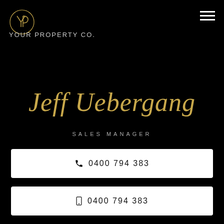[Figure (logo): Your Property Co. logo — stylized YP monogram in gold outline above the text 'YOUR PROPERTY CO.' in light grey]
Jeff Uebergang
SALES MANAGER
📞 0400 794 383
📱 0400 794 383